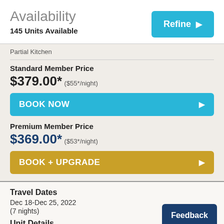Availability
145 Units Available
Partial Kitchen
Standard Member Price
$379.00* ($55*/night)
BOOK NOW
Premium Member Price
$369.00* ($53*/night)
BOOK + UPGRADE
Travel Dates
Dec 18-Dec 25, 2022
(7 nights)
Unit Details